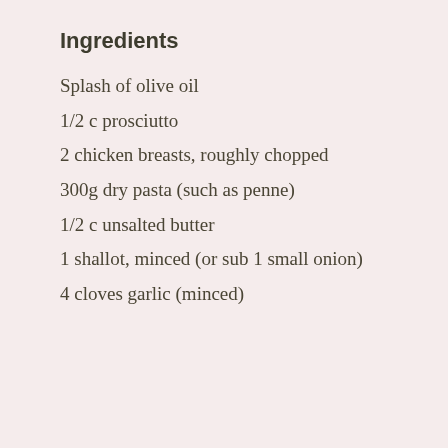Ingredients
Splash of olive oil
1/2 c prosciutto
2 chicken breasts, roughly chopped
300g dry pasta (such as penne)
1/2 c unsalted butter
1 shallot, minced (or sub 1 small onion)
4 cloves garlic (minced)